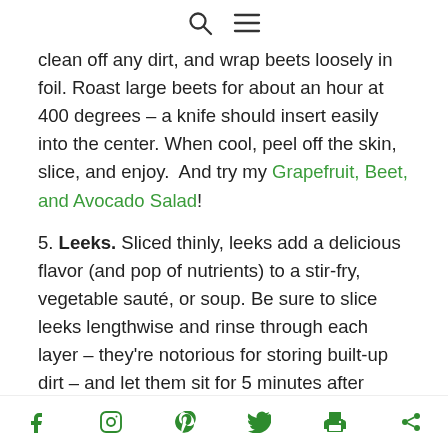[search icon] [menu icon]
clean off any dirt, and wrap beets loosely in foil. Roast large beets for about an hour at 400 degrees – a knife should insert easily into the center. When cool, peel off the skin, slice, and enjoy.  And try my Grapefruit, Beet, and Avocado Salad!
5. Leeks. Sliced thinly, leeks add a delicious flavor (and pop of nutrients) to a stir-fry, vegetable sauté, or soup. Be sure to slice leeks lengthwise and rinse through each layer – they're notorious for storing built-up dirt – and let them sit for 5 minutes after slicing and before cooking to enhance the health
[facebook] [instagram] [pinterest] [twitter] [print] [share]